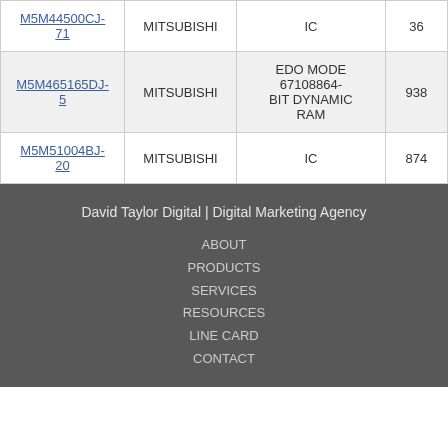| M5M44500CJ-71 | MITSUBISHI | IC | 36 |
| M5M465165DJ-5 | MITSUBISHI | EDO MODE 67108864-BIT DYNAMIC RAM | 938 |
| M5M51004BJ-20 | MITSUBISHI | IC | 874 |
David Taylor Digital | Digital Marketing Agency
ABOUT
PRODUCTS
SERVICES
RESOURCES
LINE CARD
CONTACT